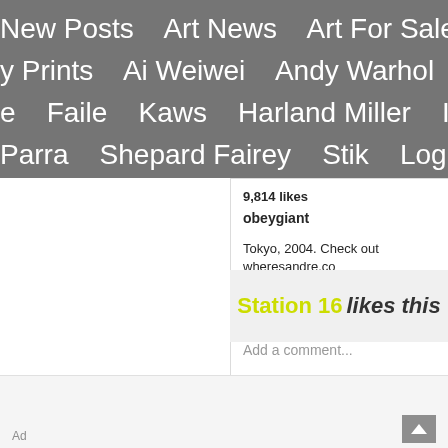New Posts   Art News   Art For Sale   Art A   y Prints   Ai Weiwei   Andy Warhol   Cleon   e   Faile   Kaws   Harland Miller   Invader   Parra   Shepard Fairey   Stik   Login   Reg
9,814 likes
obeygiant
Tokyo, 2004. Check out wheresandre.co #shepardfairey
view all 34 comments
Add a comment...
Station 16 likes this
Ad